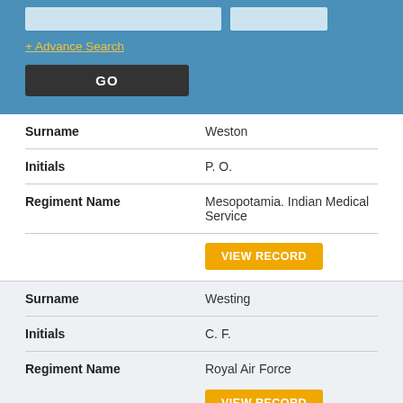[Figure (screenshot): Search panel with blue background, two input fields, advance search link, and GO button]
| Field | Value |
| --- | --- |
| Surname | Weston |
| Initials | P. O. |
| Regiment Name | Mesopotamia. Indian Medical Service |
VIEW RECORD
| Field | Value |
| --- | --- |
| Surname | Westing |
| Initials | C. F. |
| Regiment Name | Royal Air Force |
VIEW RECORD